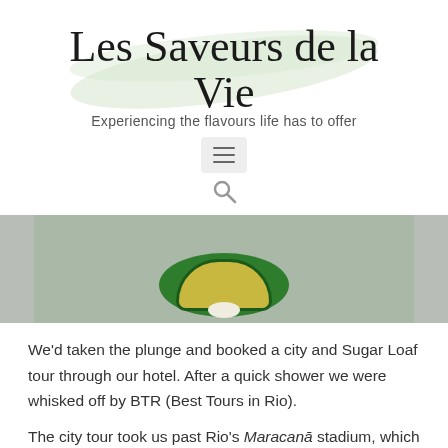Les Saveurs de la Vie
Experiencing the flavours life has to offer
[Figure (screenshot): Hamburger menu icon button with three horizontal lines on a light grey rounded rectangle background]
[Figure (screenshot): Search icon (magnifying glass) in grey]
[Figure (photo): Top-down view of a cup on a green saucer/plate, appearing to contain a light-colored liquid with cream, on a grey surface]
We'd taken the plunge and booked a city and Sugar Loaf tour through our hotel. After a quick shower we were whisked off by BTR (Best Tours in Rio).
The city tour took us past Rio's Maracanā stadium, which